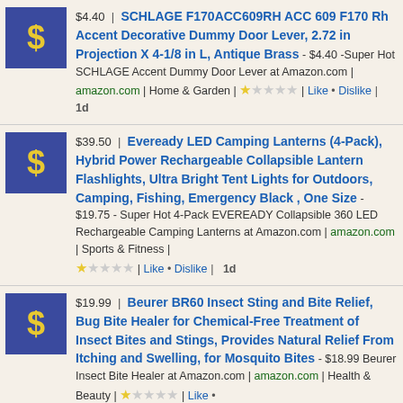$4.40 | SCHLAGE F170ACC609RH ACC 609 F170 Rh Accent Decorative Dummy Door Lever, 2.72 in Projection X 4-1/8 in L, Antique Brass - $4.40 -Super Hot SCHLAGE Accent Dummy Door Lever at Amazon.com | amazon.com | Home & Garden | 1 star | Like · Dislike | 1d
$39.50 | Eveready LED Camping Lanterns (4-Pack), Hybrid Power Rechargeable Collapsible Lantern Flashlights, Ultra Bright Tent Lights for Outdoors, Camping, Fishing, Emergency Black , One Size - $19.75 - Super Hot 4-Pack EVEREADY Collapsible 360 LED Rechargeable Camping Lanterns at Amazon.com | amazon.com | Sports & Fitness | 1 star | Like · Dislike | 1d
$19.99 | Beurer BR60 Insect Sting and Bite Relief, Bug Bite Healer for Chemical-Free Treatment of Insect Bites and Stings, Provides Natural Relief From Itching and Swelling, for Mosquito Bites - $18.99 Beurer Insect Bite Healer at Amazon.com | amazon.com | Health & Beauty | 1 star | Like · Dislike | 1d
$15.99 | Sun Joe SBJ597E-GRY 6-Amp 155 MPH